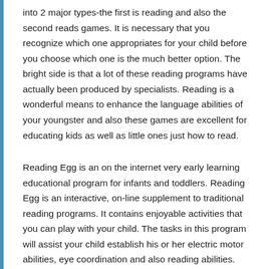into 2 major types-the first is reading and also the second reads games. It is necessary that you recognize which one appropriates for your child before you choose which one is the much better option. The bright side is that a lot of these reading programs have actually been produced by specialists. Reading is a wonderful means to enhance the language abilities of your youngster and also these games are excellent for educating kids as well as little ones just how to read.
Reading Egg is an on the internet very early learning educational program for infants and toddlers. Reading Egg is an interactive, on-line supplement to traditional reading programs. It contains enjoyable activities that you can play with your child. The tasks in this program will assist your child establish his or her electric motor abilities, eye coordination and also reading abilities. Youngsters will delight in the basic activities that you can choose from and also they will certainly also find out a couple of helpful facts as well as